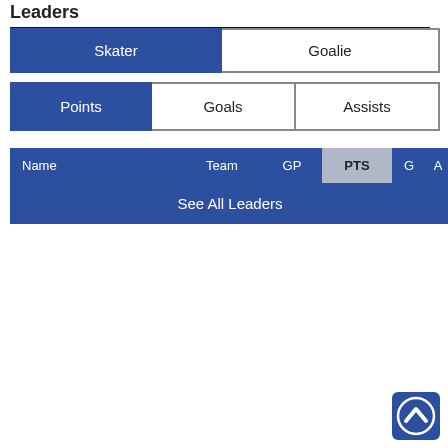Leaders
| Skater | Goalie |
| --- | --- |
| Points | Goals | Assists |
| --- | --- | --- |
| Name | Team | GP | PTS | G | A |
| --- | --- | --- | --- | --- | --- |
| See All Leaders |  |  |  |  |  |
[Figure (illustration): Back to top arrow button, blue circle with white chevron up arrow]